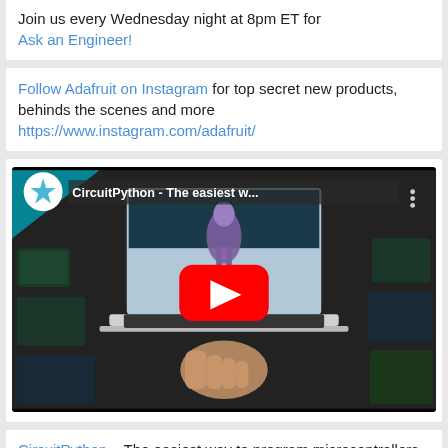Join us every Wednesday night at 8pm ET for Ask an Engineer!
Follow Adafruit on Instagram for top secret new products, behinds the scenes and more https://www.instagram.com/adafruit/
[Figure (screenshot): YouTube video thumbnail for CircuitPython - The easiest w... showing a laptop surrounded by microcontroller boards with a play button overlay]
CircuitPython – The easiest way to program microcontrollers – CircuitPython.org